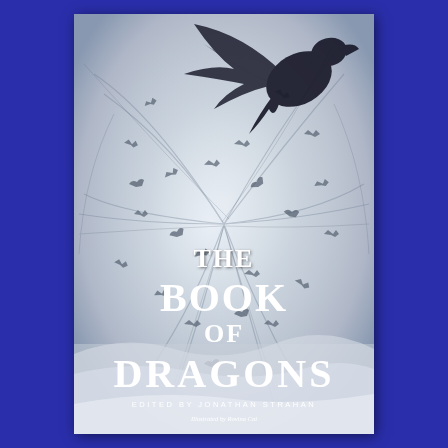[Figure (illustration): Book cover artwork: a swirling grey and white cloudy background with many small dragon silhouettes flying in a spiral/vortex pattern. In the upper right corner, a large dark dragon silhouette is visible against the misty sky.]
The Book of Dragons
Edited by Jonathan Strahan
Illustrated by Rovina Cai